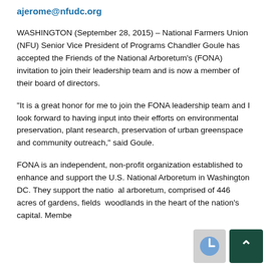ajerome@nfudc.org
WASHINGTON (September 28, 2015) – National Farmers Union (NFU) Senior Vice President of Programs Chandler Goule has accepted the Friends of the National Arboretum's (FONA) invitation to join their leadership team and is now a member of their board of directors.
“It is a great honor for me to join the FONA leadership team and I look forward to having input into their efforts on environmental preservation, plant research, preservation of urban greenspace and community outreach,” said Goule.
FONA is an independent, non-profit organization established to enhance and support the U.S. National Arboretum in Washington DC. They support the national arboretum, comprised of 446 acres of gardens, fields, woodlands in the heart of the nation's capital. Membe...